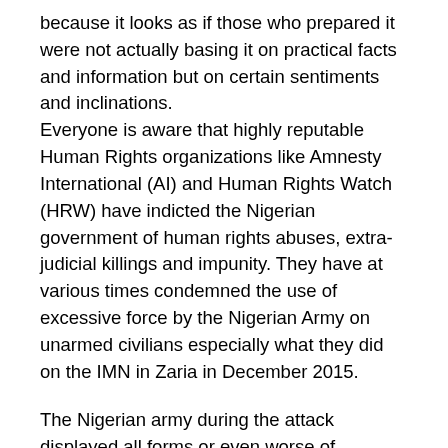because it looks as if those who prepared it were not actually basing it on practical facts and information but on certain sentiments and inclinations. Everyone is aware that highly reputable Human Rights organizations like Amnesty International (AI) and Human Rights Watch (HRW) have indicted the Nigerian government of human rights abuses, extra-judicial killings and impunity. They have at various times condemned the use of excessive force by the Nigerian Army on unarmed civilians especially what they did on the IMN in Zaria in December 2015.
The Nigerian army during the attack displayed all forms or even worse of terrorism in the way it clampdown on innocent and unarmed IMN members using a flimsy pretext. Apart from being heavily armed, they were chanting anti-Shia slogans as if the army is a Sunni terror organization, they killed women and children in a fierce killing spree, they